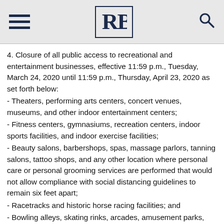RB [logo with hamburger menu and search icon]
4. Closure of all public access to recreational and entertainment businesses, effective 11:59 p.m., Tuesday, March 24, 2020 until 11:59 p.m., Thursday, April 23, 2020 as set forth below:
- Theaters, performing arts centers, concert venues, museums, and other indoor entertainment centers;
- Fitness centers, gymnasiums, recreation centers, indoor sports facilities, and indoor exercise facilities;
- Beauty salons, barbershops, spas, massage parlors, tanning salons, tattoo shops, and any other location where personal care or personal grooming services are performed that would not allow compliance with social distancing guidelines to remain six feet apart;
- Racetracks and historic horse racing facilities; and
- Bowling alleys, skating rinks, arcades, amusement parks,